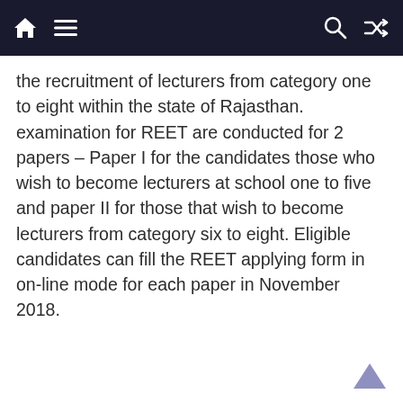[navigation bar with home, menu, search, shuffle icons]
the recruitment of lecturers from category one to eight within the state of Rajasthan. examination for REET are conducted for 2 papers – Paper I for the candidates those who wish to become lecturers at school one to five and paper II for those that wish to become lecturers from category six to eight. Eligible candidates can fill the REET applying form in on-line mode for each paper in November 2018.